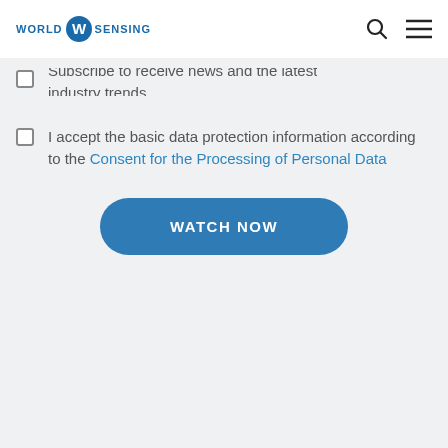WORLD SENSING
Subscribe to receive news and the latest industry trends
I accept the basic data protection information according to the Consent for the Processing of Personal Data
WATCH NOW